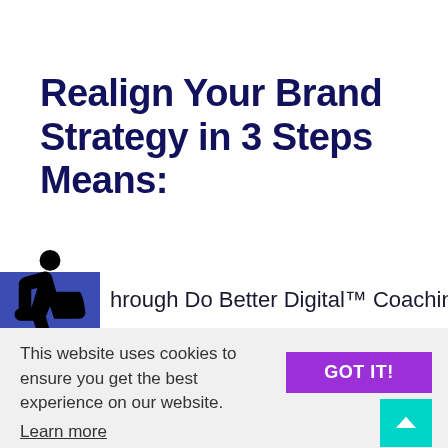Realign Your Brand Strategy in 3 Steps Means:
through Do Better Digital™ Coaching
This website uses cookies to ensure you get the best experience on our website. Learn more